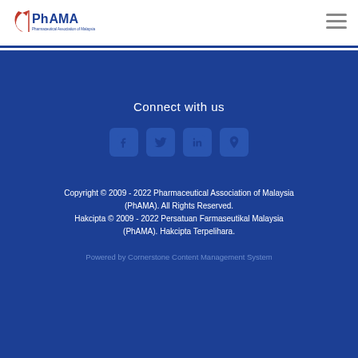[Figure (logo): PhAMA logo — Pharmaceutical Association of Malaysia with red crescent and blue text]
[Figure (infographic): Hamburger menu icon (three horizontal lines) for navigation]
Connect with us
[Figure (infographic): Social media icons: Facebook, Twitter, LinkedIn, Location/Map pin]
Copyright © 2009 - 2022 Pharmaceutical Association of Malaysia (PhAMA). All Rights Reserved.
Hakcipta © 2009 - 2022 Persatuan Farmaseutikal Malaysia (PhAMA). Hakcipta Terpelihara.
Powered by Cornerstone Content Management System